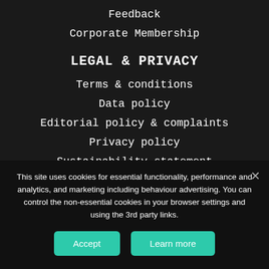Feedback
Corporate Membership
LEGAL & PRIVACY
Terms & conditions
Data policy
Editorial policy & complaints
Privacy policy
Sustainability statement
Copyright
This site uses cookies for essential functionality, performance and analytics, and marketing including behaviour advertising. You can control the non-essential cookies in your browser settings and using the 3rd party links.
Accept
Learn more